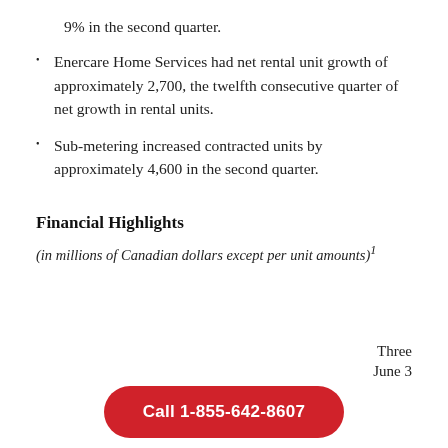9% in the second quarter.
Enercare Home Services had net rental unit growth of approximately 2,700, the twelfth consecutive quarter of net growth in rental units.
Sub-metering increased contracted units by approximately 4,600 in the second quarter.
Financial Highlights
(in millions of Canadian dollars except per unit amounts)1
Three
June 3